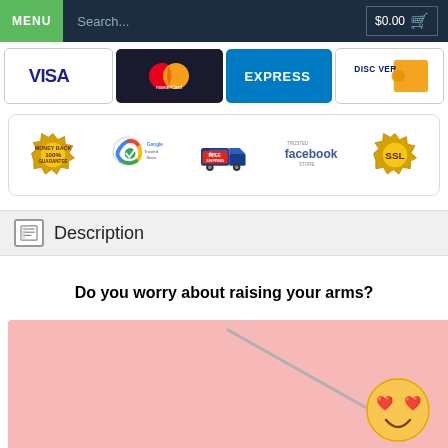MENU  Search...  $0.00 🛒
[Figure (other): Payment method logos: Visa, MasterCard, Express, Discover]
[Figure (other): Trust badges: 100% Money Back Guarantee, Google Trusted Store, Free Shipping, Trusted Facebook Store, SSL]
Description
Do you worry about raising your arms?
[Figure (photo): Pink background with a smiley face emoji with heart eyes, and what appears to be a razor/shaver tool. Product lifestyle photo.]